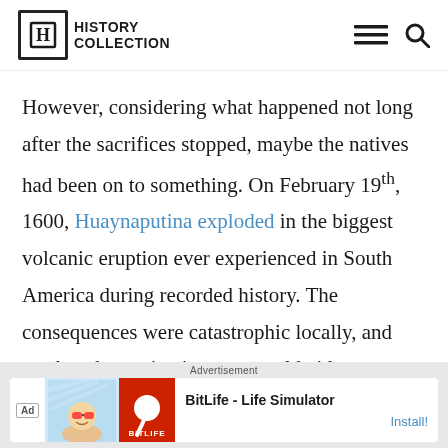History Collection
However, considering what happened not long after the sacrifices stopped, maybe the natives had been on to something. On February 19th, 1600, Huaynaputina exploded in the biggest volcanic eruption ever experienced in South America during recorded history. The consequences were catastrophic locally, and produced negative impacts worldwide, including the killing of
Advertisement
[Figure (screenshot): BitLife - Life Simulator advertisement banner with cartoon character and red BitLife logo]